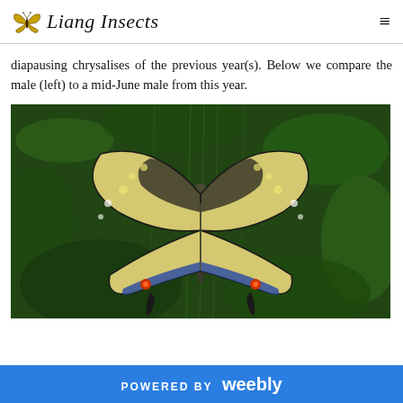Liang Insects
diapausing chrysalises of the previous year(s). Below we compare the male (left) to a mid-June male from this year.
[Figure (photo): A swallowtail butterfly (Papilio machaon or similar) with wings spread open, resting on green fennel or similar feathery plant. The butterfly displays yellow and black wing patterns with blue and orange markings near the tail.]
POWERED BY weebly